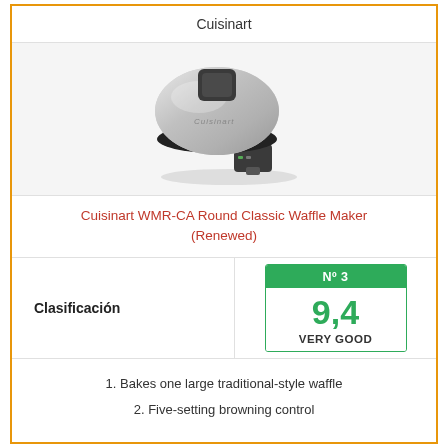Cuisinart
[Figure (photo): Cuisinart WMR-CA Round Classic Waffle Maker product photo showing stainless steel round waffle maker with dark gray handles]
Cuisinart WMR-CA Round Classic Waffle Maker (Renewed)
| Clasificación | Nº 3 / 9,4 / VERY GOOD |
| --- | --- |
| Clasificación | Nº 3
9,4
VERY GOOD |
1. Bakes one large traditional-style waffle
2. Five-setting browning control